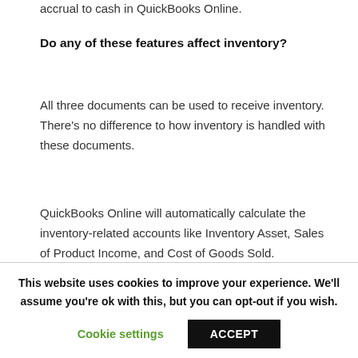accrual to cash in QuickBooks Online.
Do any of these features affect inventory?
All three documents can be used to receive inventory. There's no difference to how inventory is handled with these documents.
QuickBooks Online will automatically calculate the inventory-related accounts like Inventory Asset, Sales of Product Income, and Cost of Goods Sold.
This website uses cookies to improve your experience. We'll assume you're ok with this, but you can opt-out if you wish.